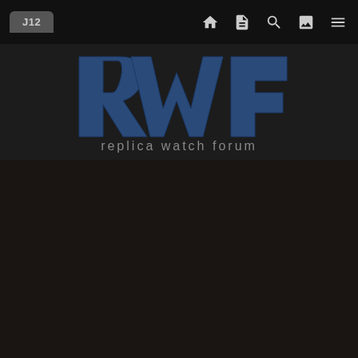J12
[Figure (logo): Replica Watch Forum (RWF) logo with stylized letters R, W, F in dark blue and text 'replica watch forum' below]